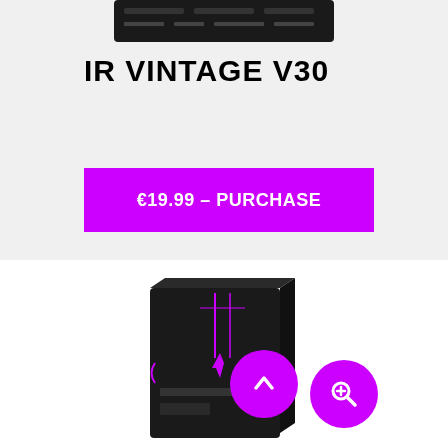[Figure (photo): Partial view of a dark product hardware device at the top of the page]
IR VINTAGE V30
€19.99 – PURCHASE
[Figure (photo): Dark product box with purple lightning bolt logo labeled IR PAC and two purple circle icon buttons (up arrow and search/magnify)]